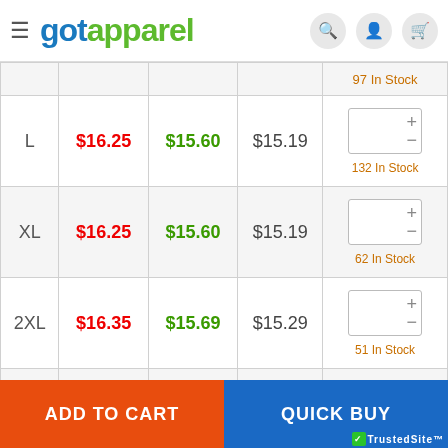gotapparel
| Size | 1-11 | 12-23 | 24+ | Qty |
| --- | --- | --- | --- | --- |
|  |  |  |  | 97 In Stock |
| L | $16.25 | $15.60 | $15.19 | 132 In Stock |
| XL | $16.25 | $15.60 | $15.19 | 62 In Stock |
| 2XL | $16.35 | $15.69 | $15.29 | 51 In Stock |
| 3XL | $16.38 | $15.72 | $15.31 | 23 In Stock |
ADD TO CART
QUICK BUY